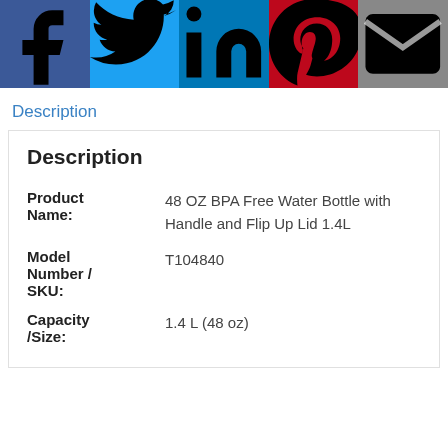[Figure (infographic): Social media sharing bar with icons for Facebook, Twitter, LinkedIn, Pinterest, and Email]
Description
| Field | Value |
| --- | --- |
| Product Name: | 48 OZ BPA Free Water Bottle with Handle and Flip Up Lid 1.4L |
| Model Number / SKU: | T104840 |
| Capacity /Size: | 1.4 L (48 oz) |